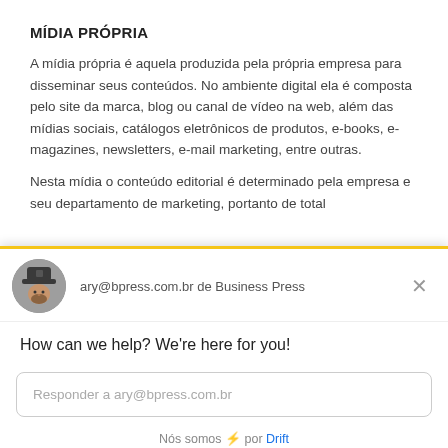MÍDIA PRÓPRIA
A mídia própria é aquela produzida pela própria empresa para disseminar seus conteúdos. No ambiente digital ela é composta pelo site da marca, blog ou canal de vídeo na web, além das mídias sociais, catálogos eletrônicos de produtos, e-books, e-magazines, newsletters, e-mail marketing, entre outras.
Nesta mídia o conteúdo editorial é determinado pela empresa e seu departamento de marketing, portanto de total
[Figure (screenshot): Chat widget overlay showing avatar, email ary@bpress.com.br de Business Press, close button, greeting text, input field, and footer]
ary@bpress.com.br de Business Press
How can we help? We're here for you!
Responder a ary@bpress.com.br
Nós somos ⚡ por Drift